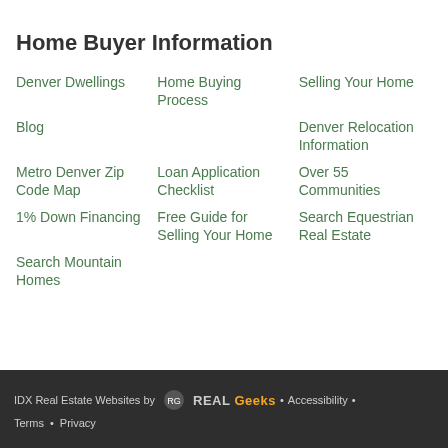Home Buyer Information
Denver Dwellings
Home Buying Process
Selling Your Home
Blog
Denver Relocation Information
Metro Denver Zip Code Map
Loan Application Checklist
Over 55 Communities
1% Down Financing
Free Guide for Selling Your Home
Search Equestrian Real Estate
Search Mountain Homes
IDX Real Estate Websites by RealGeeks • Accessibility • Terms • Privacy